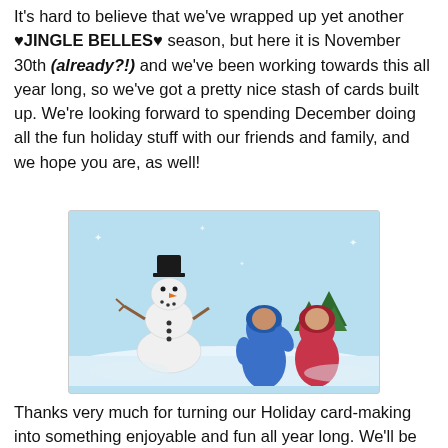It's hard to believe that we've wrapped up yet another ♥JINGLE BELLES♥ season, but here it is November 30th (already?!) and we've been working towards this all year long, so we've got a pretty nice stash of cards built up. We're looking forward to spending December doing all the fun holiday stuff with our friends and family, and we hope you are, as well!
[Figure (illustration): Holiday illustration showing a cartoon snowman with a black hat on a snowy background, beside two cartoon figures in winter snowsuits (one blue, one red/pink) with real human faces superimposed in the hoods — a festive Jingle Belles card scene.]
Thanks very much for turning our Holiday card-making into something enjoyable and fun all year long. We'll be back again on January 1, 2019 to start this whole shindig over again, and hope to see you then. Meanwhile we wish you the loveliest of Decembers and the happiest of holidays! Remember, if you have prompt ideas, we'd love for you to